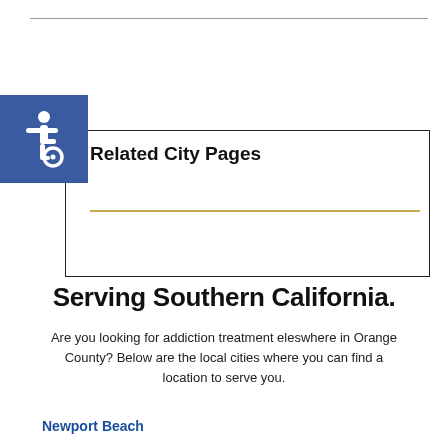[Figure (illustration): Blue square accessibility icon with wheelchair symbol in white]
Related City Pages
Serving Southern California.
Are you looking for addiction treatment eleswhere in Orange County? Below are the local cities where you can find a location to serve you.
Newport Beach